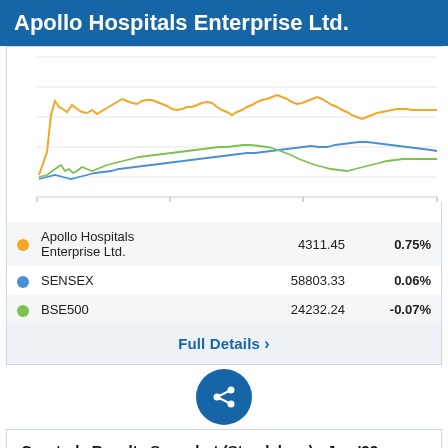Apollo Hospitals Enterprise Ltd.
[Figure (line-chart): Line chart showing price performance of Apollo Hospitals Enterprise Ltd. (orange), SENSEX (blue), and BSE500 (green) over time.]
|  | Name | Value | Change% |
| --- | --- | --- | --- |
| ● | Apollo Hospitals Enterprise Ltd. | 4311.45 | 0.75% |
| ● | SENSEX | 58803.33 | 0.06% |
| ● | BSE500 | 24232.24 | -0.07% |
Full Details ›
Quarterly Results Snapshot (Standalone) - Jun '22 - QoQ